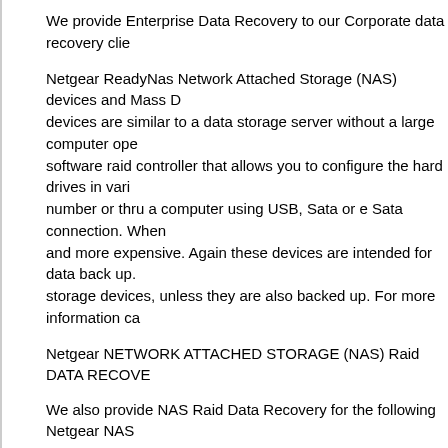We provide Enterprise Data Recovery to our Corporate data recovery clie
Netgear ReadyNas Network Attached Storage (NAS) devices and Mass D devices are similar to a data storage server without a large computer ope software raid controller that allows you to configure the hard drives in vari number or thru a computer using USB, Sata or e Sata connection. When and more expensive. Again these devices are intended for data back up. storage devices, unless they are also backed up. For more information ca
Netgear NETWORK ATTACHED STORAGE (NAS) Raid DATA RECOVE
We also provide NAS Raid Data Recovery for the following Netgear NAS
ReadyNAS Pro Pioneer Edition
ReadyNAS Pro
ReadyNAS NV+
ReadyNAS NVX
ReadyNAS Duo
Storage Central
ReadyNAS 2100
ReadyNAS 1100
ReadyNAS 3200
We also provide NAS Data Recovery for the following Synology Technolo
Disk Station DS509+
DX5
Rack Station RS409+ /
RS409RP+